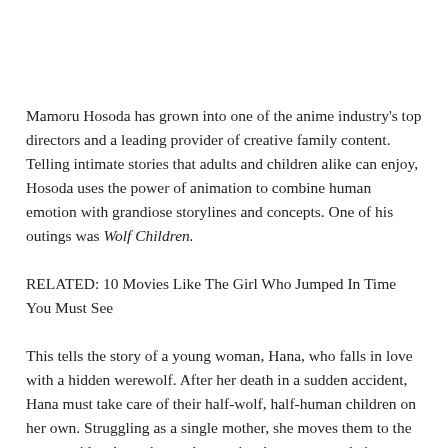Mamoru Hosoda has grown into one of the anime industry's top directors and a leading provider of creative family content. Telling intimate stories that adults and children alike can enjoy, Hosoda uses the power of animation to combine human emotion with grandiose storylines and concepts. One of his outings was Wolf Children.
RELATED: 10 Movies Like The Girl Who Jumped In Time You Must See
This tells the story of a young woman, Hana, who falls in love with a hidden werewolf. After her death in a sudden accident, Hana must take care of their half-wolf, half-human children on her own. Struggling as a single mother, she moves them to the countryside where she works to raise them, protect their secret, and cultivate